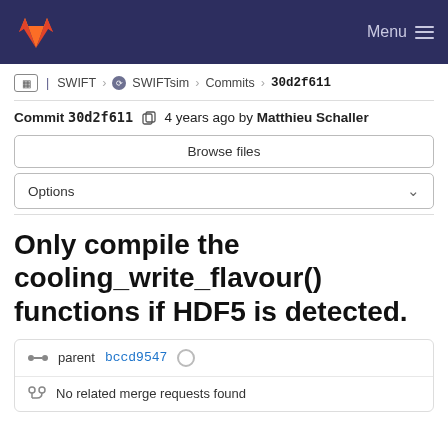GitLab — Menu
SWIFT › SWIFTsim › Commits › 30d2f611
Commit 30d2f611  4 years ago by Matthieu Schaller
Browse files
Options
Only compile the cooling_write_flavour() functions if HDF5 is detected.
parent bccd9547
No related merge requests found